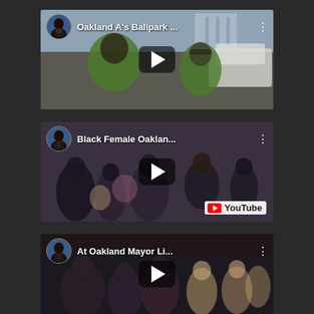[Figure (screenshot): YouTube video thumbnail 1: Oakland A's Ballpark ... - video card with play button, avatar of Black male news anchor, title text 'Oakland A’s Ballpark ...', three-dot menu, outdoor parking lot scene with people in green shirts]
[Figure (screenshot): YouTube video thumbnail 2: Black Female Oaklan... - video card with play button, avatar of Black male news anchor, title text 'Black Female Oaklan...', three-dot menu, YouTube watermark, indoor crowd scene]
[Figure (screenshot): YouTube video thumbnail 3: At Oakland Mayor Li... - video card with play button, avatar of Black male news anchor, title text 'At Oakland Mayor Li...', three-dot menu, outdoor night crowd scene]